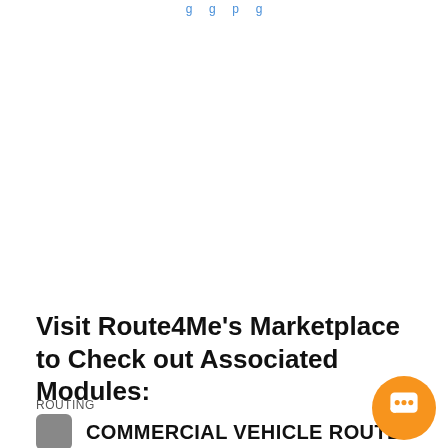…g … …g … p … g
Visit Route4Me's Marketplace to Check out Associated Modules:
ROUTING
COMMERCIAL VEHICLE ROUTE